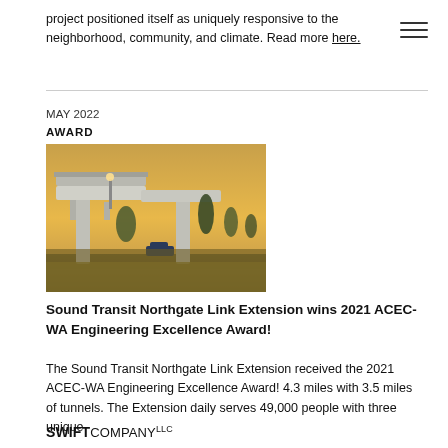project positioned itself as uniquely responsive to the neighborhood, community, and climate. Read more here.
MAY 2022
AWARD
[Figure (photo): Photograph of elevated transit rail structure (Northgate Link Extension) at dusk/sunset with trees and vehicles visible below]
Sound Transit Northgate Link Extension wins 2021 ACEC-WA Engineering Excellence Award!
The Sound Transit Northgate Link Extension received the 2021 ACEC-WA Engineering Excellence Award!  4.3 miles with 3.5 miles of tunnels.  The Extension daily serves 49,000 people with three unique
SWIFT COMPANY LLC